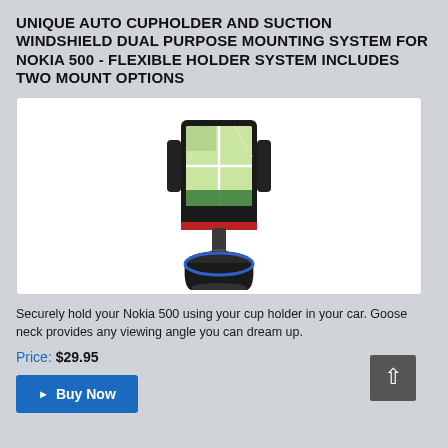UNIQUE AUTO CUPHOLDER AND SUCTION WINDSHIELD DUAL PURPOSE MOUNTING SYSTEM FOR NOKIA 500 - FLEXIBLE HOLDER SYSTEM INCLUDES TWO MOUNT OPTIONS
[Figure (photo): Product photo of a car cup holder phone mount with a Nokia 500 smartphone secured in the cradle, showing a map on the screen. The mount has a gooseneck arm and a circular cup holder base.]
Securely hold your Nokia 500 using your cup holder in your car. Goose neck provides any viewing angle you can dream up.
Price: $29.95
▶ Buy Now